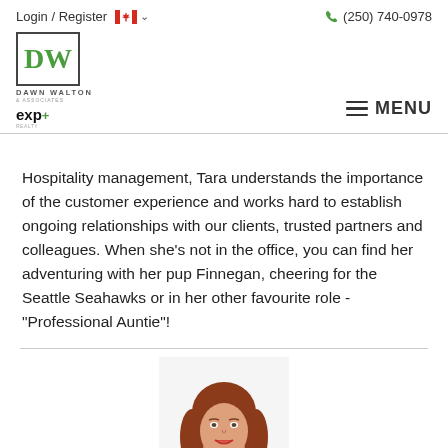Login / Register  (250) 740-0978
[Figure (logo): Dawn Walton & Associates eXp Realty logo with DW monogram in green border box]
MENU
Hospitality management, Tara understands the importance of the customer experience and works hard to establish ongoing relationships with our clients, trusted partners and colleagues. When she's not in the office, you can find her adventuring with her pup Finnegan, cheering for the Seattle Seahawks or in her other favourite role - "Professional Auntie"!
[Figure (photo): Headshot photo of a woman with long red hair wearing a black blazer, smiling, cropped to show head and upper shoulders]